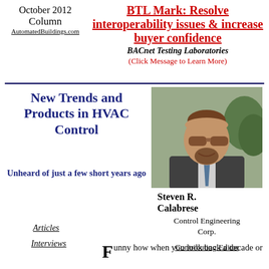October 2012
Column
AutomatedBuildings.com
BTL Mark: Resolve interoperability issues & increase buyer confidence
BACnet Testing Laboratories
(Click Message to Learn More)
New Trends and Products in HVAC Control
Unheard of just a few short years ago
[Figure (photo): Headshot photo of Steven R. Calabrese, a man with glasses and a beard wearing a suit and tie, outdoors.]
Steven R. Calabrese
Control Engineering Corp.
Contributing Editor
Articles
Interviews
Funny how when you look back a decade or